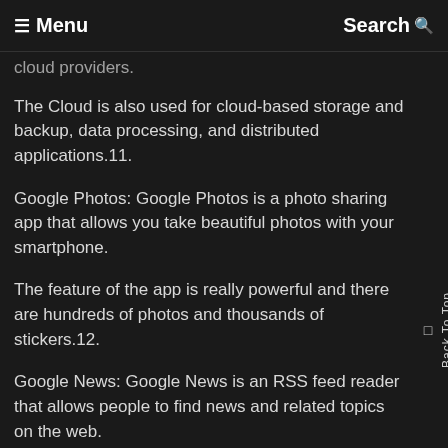☰ Menu   Search 🔍
cloud providers.
The Cloud is also used for cloud-based storage and backup, data processing, and distributed applications.11.
Google Photos: Google Photos is a photo sharing app that allows you take beautiful photos with your smartphone.
The feature of the app is really powerful and there are hundreds of photos and thousands of stickers.12.
Google News: Google News is an RSS feed reader that allows people to find news and related topics on the web.
The content is curated and updated by the community.13.
Google Buzz: Google Buzz is a search engine that lets you find the